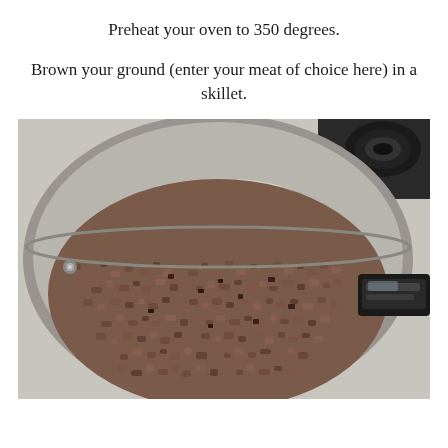Preheat your oven to 350 degrees.
Brown your ground (enter your meat of choice here) in a skillet.
[Figure (photo): A skillet filled with browned ground meat, viewed from above at an angle. The pan is stainless steel and sits on a stovetop. A black spatula handle is visible on the right side.]